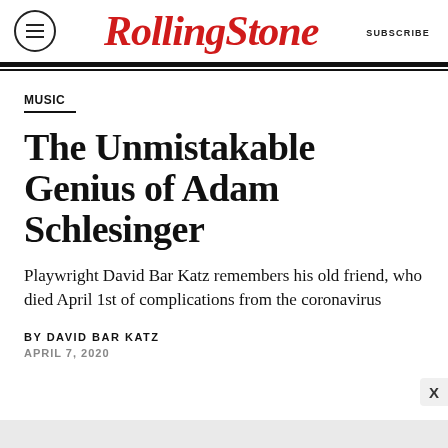Rolling Stone — SUBSCRIBE
MUSIC
The Unmistakable Genius of Adam Schlesinger
Playwright David Bar Katz remembers his old friend, who died April 1st of complications from the coronavirus
BY DAVID BAR KATZ
APRIL 7, 2020